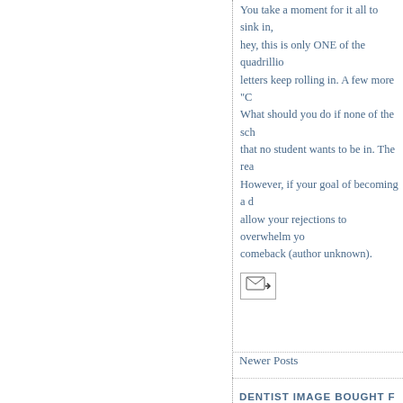You take a moment for it all to sink in, hey, this is only ONE of the quadrilli... letters keep rolling in. A few more "C... What should you do if none of the sch... that no student wants to be in. The rea... However, if your goal of becoming a d... allow your rejections to overwhelm yo... comeback (author unknown).
[Figure (other): Small email/forward icon button showing an envelope with an arrow pointing right]
Newer Posts
DENTIST IMAGE BOUGHT F...